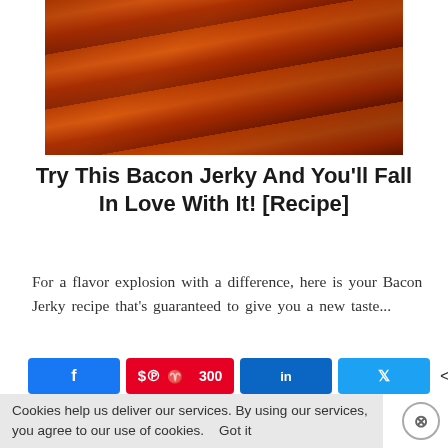[Figure (photo): Close-up photo of glazed bacon jerky strips on a wooden surface, glistening with a red/orange glaze]
Try This Bacon Jerky And You'll Fall In Love With It! [Recipe]
For a flavor explosion with a difference, here is your Bacon Jerky recipe that's guaranteed to give you a new taste...
Social share buttons: Facebook, Pinterest 300, LinkedIn, Twitter. 300 SHARES
CONTINUE READING
Cookies help us deliver our services. By using our services, you agree to our use of cookies.    Got it